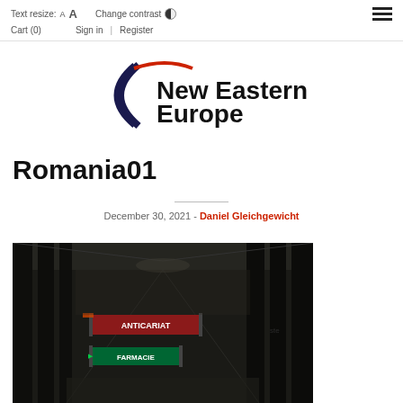Text resize: A A  Change contrast  Cart (0)  Sign in  |  Register
[Figure (logo): New Eastern Europe logo with arc design in navy and red]
Romania01
December 30, 2021 - Daniel Gleichgewicht
[Figure (photo): Dark photo of an arcade/colonnade corridor with signs including ANTICARIAT and FARMACIE]